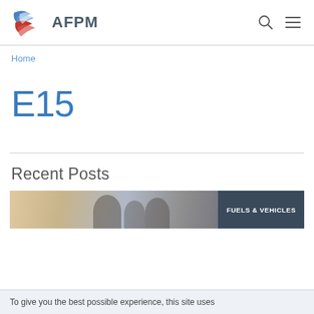AFPM
Home
E15
Recent Posts
[Figure (photo): Photo thumbnail with FUELS & VEHICLES tag overlay]
To give you the best possible experience, this site uses